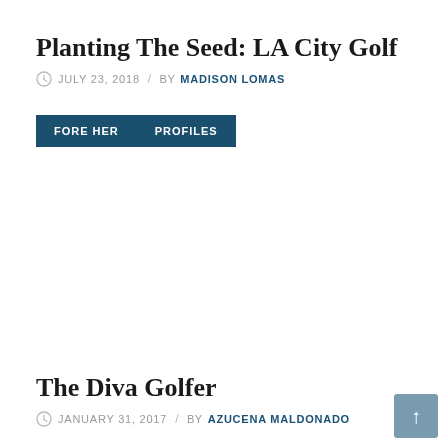Planting The Seed: LA City Golf
JULY 23, 2018  /  BY MADISON LOMAS
FORE HER
PROFILES
The Diva Golfer
JANUARY 31, 2017  /  BY AZUCENA MALDONADO